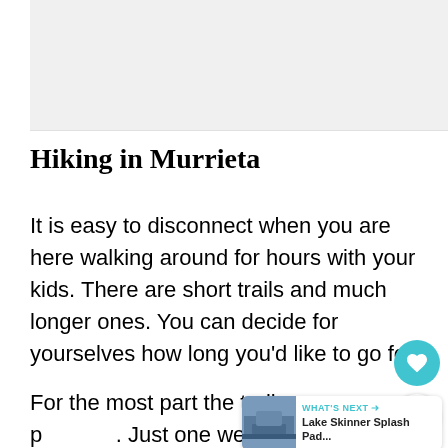[Figure (photo): Gray placeholder area for an image at the top of the page]
Hiking in Murrieta
It is easy to disconnect when you are here walking around for hours with your kids. There are short trails and much longer ones. You can decide for yourselves how long you'd like to go fo
For the most part the trails are p... Just one went slightly up hill but nothing